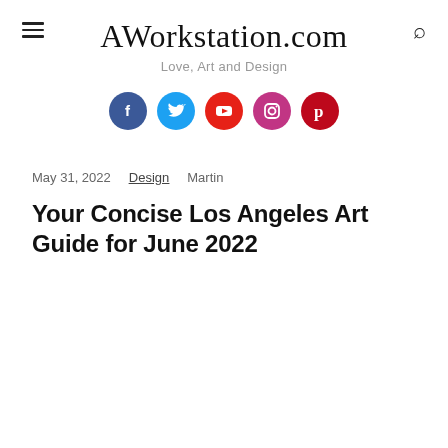AWorkstation.com
Love, Art and Design
[Figure (infographic): Row of 5 social media icons: Facebook (dark blue), Twitter (light blue), YouTube (red), Instagram (pink/magenta), Pinterest (dark red)]
May 31, 2022  Design  Martin
Your Concise Los Angeles Art Guide for June 2022